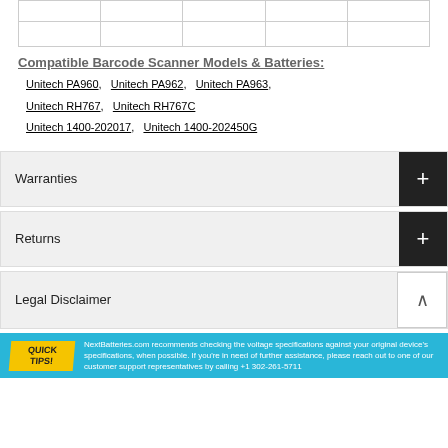|  |  |  |  |  |
|  |  |  |  |  |
Compatible Barcode Scanner Models & Batteries:
Unitech PA960, Unitech PA962, Unitech PA963,
Unitech RH767, Unitech RH767C
Unitech 1400-202017, Unitech 1400-202450G
Warranties
Returns
Legal Disclaimer
NextBatteries.com recommends checking the voltage specifications against your original device's specifications, when possible. If you're in need of further assistance, please reach out to one of our customer support representatives by calling +1 302-261-5711